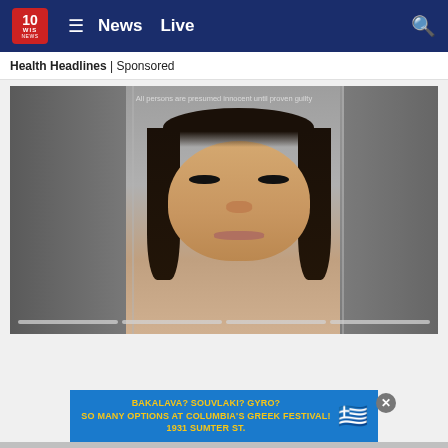10 WIS News | News | Live
Health Headlines | Sponsored
[Figure (photo): Mugshot-style photo of a young woman with long dark hair against a gray background, shown in a slideshow/video player interface with progress segments at the bottom and watermark text reading 'All persons are presumed innocent until proven guilty']
BAKALAVA? SOUVLAKI? GYRO? SO MANY OPTIONS AT COLUMBIA'S GREEK FESTIVAL! 1931 SUMTER ST.